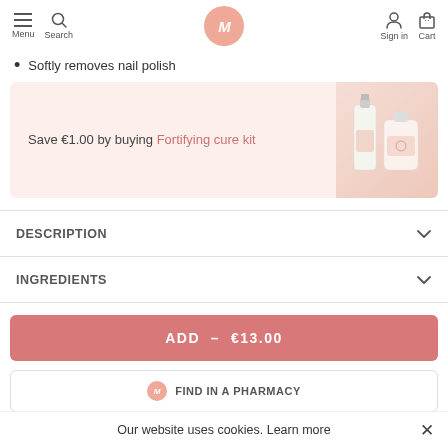Menu | Search | M (logo) | Sign in | Cart
Softly removes nail polish
Save €1.00 by buying Fortifying cure kit
[Figure (photo): Product photo of two cosmetic bottles on peach background]
DESCRIPTION
INGREDIENTS
ADD – €13.00
FIND IN A PHARMACY
Our website uses cookies. Learn more